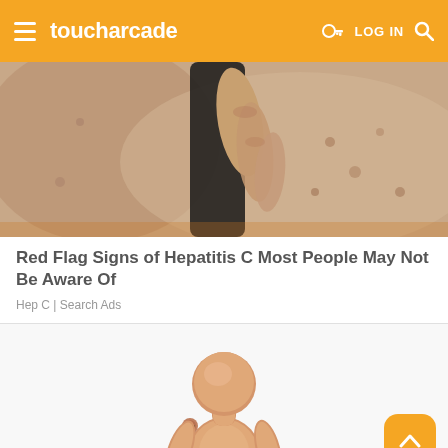toucharcade | LOG IN
[Figure (photo): Close-up photo of a hand touching skin, aging/spotted skin visible]
Red Flag Signs of Hepatitis C Most People May Not Be Aware Of
Hep C | Search Ads
[Figure (photo): Wooden articulated mannequin in a bent/hunched posture on white background]